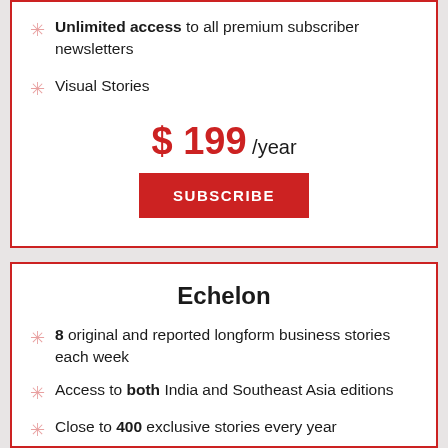Unlimited access to all premium subscriber newsletters
Visual Stories
$199 /year
SUBSCRIBE
Echelon
8 original and reported longform business stories each week
Access to both India and Southeast Asia editions
Close to 400 exclusive stories every year